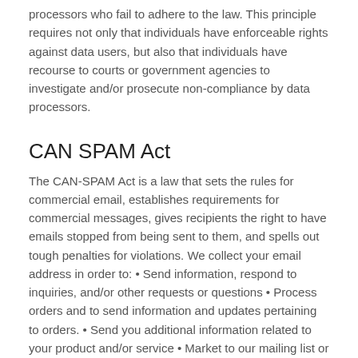processors who fail to adhere to the law. This principle requires not only that individuals have enforceable rights against data users, but also that individuals have recourse to courts or government agencies to investigate and/or prosecute non-compliance by data processors.
CAN SPAM Act
The CAN-SPAM Act is a law that sets the rules for commercial email, establishes requirements for commercial messages, gives recipients the right to have emails stopped from being sent to them, and spells out tough penalties for violations. We collect your email address in order to: • Send information, respond to inquiries, and/or other requests or questions • Process orders and to send information and updates pertaining to orders. • Send you additional information related to your product and/or service • Market to our mailing list or continue to send emails to our clients after the original transaction has occurred. To be in accordance with CANSPAM, we agree to the